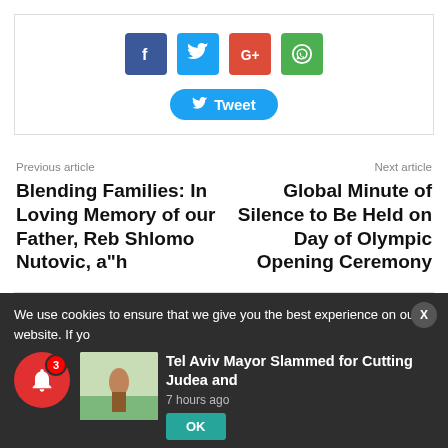[Figure (infographic): Social media share buttons: Facebook (blue), Twitter (light blue), Google+ (red), WhatsApp (green), and a Tweet button below]
Previous article
Blending Families: In Loving Memory of our Father, Reb Shlomo Nutovic, a"h
Next article
Global Minute of Silence to Be Held on Day of Olympic Opening Ceremony
We use cookies to ensure that we give you the best experience on our website. If yo
Tel Aviv Mayor Slammed for Cutting Judea and
7 hours ago